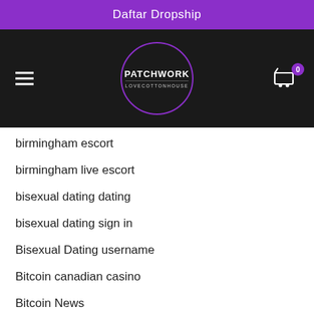Daftar Dropship
[Figure (logo): Patchwork Lovecottonhouse logo — circular purple-outlined logo on black background with PATCHWORK text and LOVECOTTONHOUSE subtext, hamburger menu icon on left, shopping cart icon with badge '0' on right]
birmingham escort
birmingham live escort
bisexual dating dating
bisexual dating sign in
Bisexual Dating username
Bitcoin canadian casino
Bitcoin News
black dating reviews